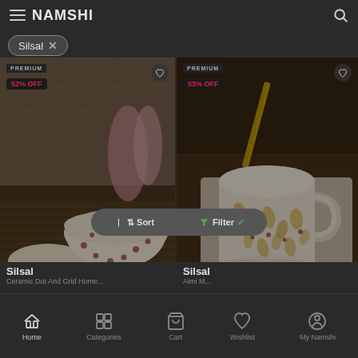NAMSHI
Silsal ×
[Figure (photo): Left product card: ceramic bowls with polka dot pattern, PREMIUM badge, 52% OFF discount badge, heart wishlist icon]
[Figure (photo): Right product card: ceramic mug with gold pattern on tray, PREMIUM badge, 53% OFF discount badge, heart wishlist icon]
⇅ Sort   ▼ Filter ✓
Silsal
Silsal
Home   Categories   Cart   Wishlist   My Namshi